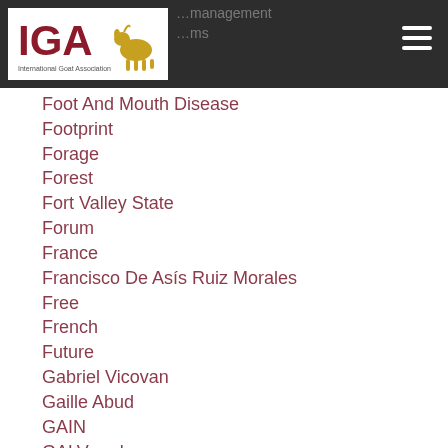IGA – International Goat Association
Foot And Mouth Disease
Footprint
Forage
Forest
Fort Valley State
Forum
France
Francisco De Asís Ruiz Morales
Free
French
Future
Gabriel Vicovan
Gaille Abud
GAIN
GALVmed
Gambia
Garrick Batten